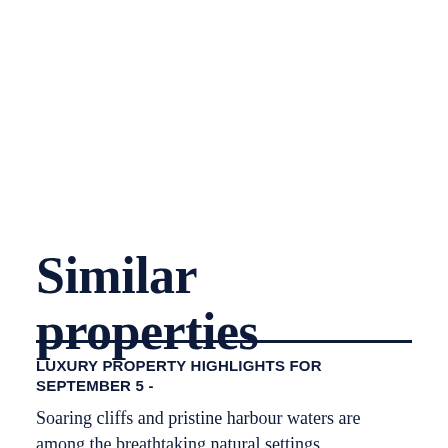Similar properties
LUXURY PROPERTY HIGHLIGHTS FOR SEPTEMBER 5 -
Soaring cliffs and pristine harbour waters are among the breathtaking natural settings